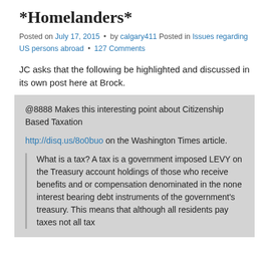*Homelanders*
Posted on July 17, 2015 • by calgary411 Posted in Issues regarding US persons abroad • 127 Comments
JC asks that the following be highlighted and discussed in its own post here at Brock.
@8888 Makes this interesting point about Citizenship Based Taxation

http://disq.us/8o0buo on the Washington Times article.

What is a tax? A tax is a government imposed LEVY on the Treasury account holdings of those who receive benefits and or compensation denominated in the none interest bearing debt instruments of the government's treasury. This means that although all residents pay taxes not all tax